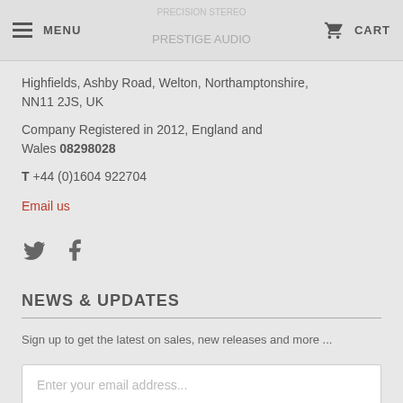MENU | CART
Highfields, Ashby Road, Welton, Northamptonshire, NN11 2JS, UK
Company Registered in 2012, England and Wales 08298028
T +44 (0)1604 922704
Email us
[Figure (other): Twitter and Facebook social media icons]
NEWS & UPDATES
Sign up to get the latest on sales, new releases and more ...
Enter your email address...
SIGN UP